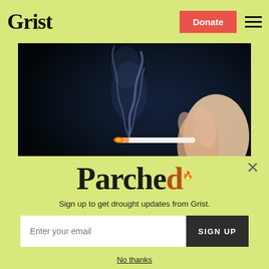Grist
[Figure (photo): Close-up photo of a hand holding a lit cigarette with blue smoke rising against a dark background]
Parched
Sign up to get drought updates from Grist.
Enter your email  SIGN UP
No thanks